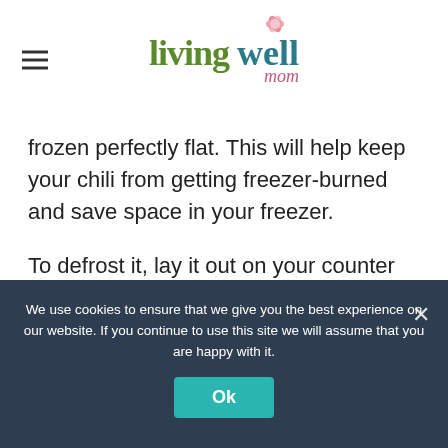living well mom
frozen perfectly flat. This will help keep your chili from getting freezer-burned and save space in your freezer.
To defrost it, lay it out on your counter on a cookie sheet or put it in your refrigerator overnight. Simply reheat on the stove or in the microwave, and enjoy!
We use cookies to ensure that we give you the best experience on our website. If you continue to use this site we will assume that you are happy with it.